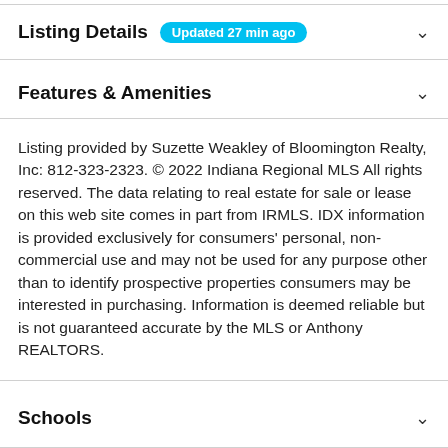Listing Details Updated 27 min ago
Features & Amenities
Listing provided by Suzette Weakley of Bloomington Realty, Inc: 812-323-2323. © 2022 Indiana Regional MLS All rights reserved. The data relating to real estate for sale or lease on this web site comes in part from IRMLS. IDX information is provided exclusively for consumers' personal, non-commercial use and may not be used for any purpose other than to identify prospective properties consumers may be interested in purchasing. Information is deemed reliable but is not guaranteed accurate by the MLS or Anthony REALTORS.
Schools
Take a Tour
Ask A Question